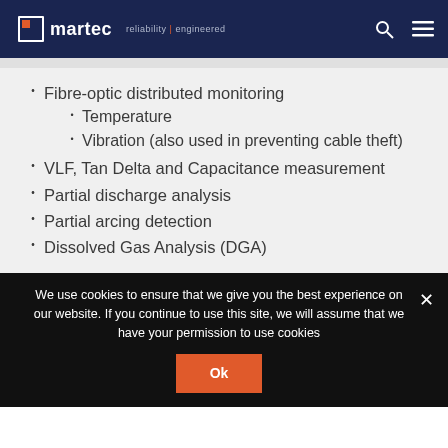martec | reliability | engineered
Fibre-optic distributed monitoring
Temperature
Vibration (also used in preventing cable theft)
VLF, Tan Delta and Capacitance measurement
Partial discharge analysis
Partial arcing detection
Dissolved Gas Analysis (DGA)
We use cookies to ensure that we give you the best experience on our website. If you continue to use this site, we will assume that you have your permission to use cookies